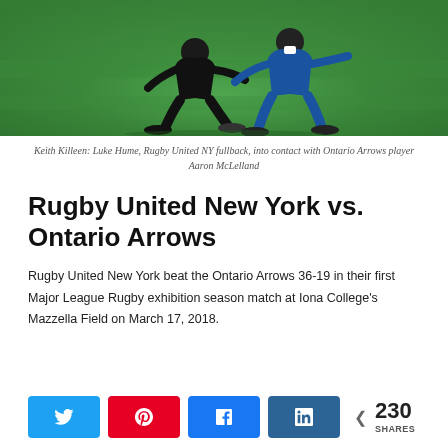[Figure (photo): Two rugby players in contact during a match on a green artificial turf field. One player in black, one in blue.]
Keith Killeen: Luke Hume, Rugby United NY fullback, into contact with Ontario Arrows player Aaron McLelland
Rugby United New York vs. Ontario Arrows
Rugby United New York beat the Ontario Arrows 36-19 in their first Major League Rugby exhibition season match at Iona College's Mazzella Field on March 17, 2018.
[Figure (infographic): Social share buttons: Twitter, Pinterest, Facebook, LinkedIn. Share count: 230 SHARES.]